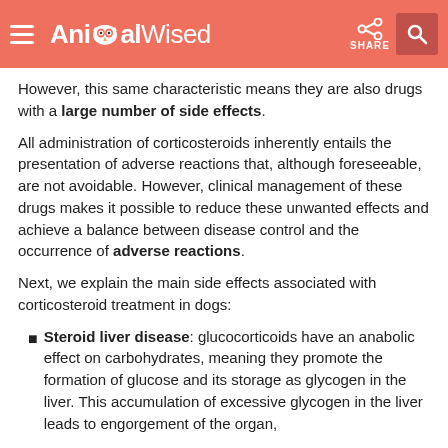AnimalWised
However, this same characteristic means they are also drugs with a large number of side effects.
All administration of corticosteroids inherently entails the presentation of adverse reactions that, although foreseeable, are not avoidable. However, clinical management of these drugs makes it possible to reduce these unwanted effects and achieve a balance between disease control and the occurrence of adverse reactions.
Next, we explain the main side effects associated with corticosteroid treatment in dogs:
Steroid liver disease: glucocorticoids have an anabolic effect on carbohydrates, meaning they promote the formation of glucose and its storage as glycogen in the liver. This accumulation of excessive glycogen in the liver leads to engorgement of the organ,